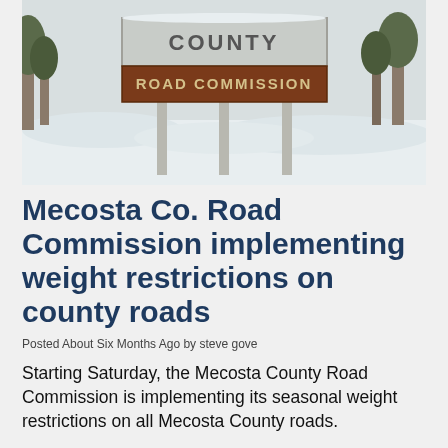[Figure (photo): A snowy outdoor scene showing a county road commission sign mounted on metal posts. The sign reads 'COUNTY' at top and 'ROAD COMMISSION' on a brown/dark background below. Snow covers the ground.]
Mecosta Co. Road Commission implementing weight restrictions on county roads
Posted About Six Months Ago by steve gove
Starting Saturday, the Mecosta County Road Commission is implementing its seasonal weight restrictions on all Mecosta County roads.
Weight restrictions only affect semi-trucks and